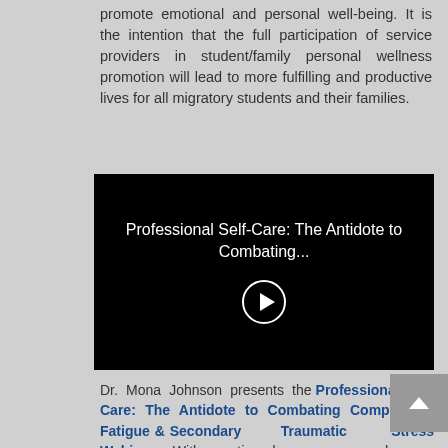promote emotional and personal well-being. It is the intention that the full participation of service providers in student/family personal wellness promotion will lead to more fulfilling and productive lives for all migratory students and their families.
[Figure (screenshot): Video thumbnail with black background displaying title 'Professional Self-Care: The Antidote to Combating...' with a circular play button below]
Dr. Mona Johnson presents the Professional Self-Care: The Antidote to Combating Compassion Fatigue & Secondary Traumatic Stress Webinar. With continued pressures and ever-increasing demands in the